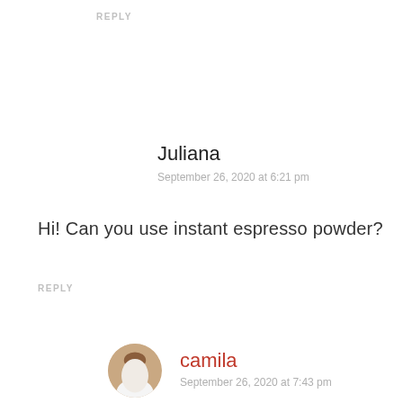REPLY
Juliana
September 26, 2020 at 6:21 pm
Hi! Can you use instant espresso powder?
REPLY
[Figure (photo): Circular avatar photo of Camila, a woman with brown hair]
camila
September 26, 2020 at 7:43 pm